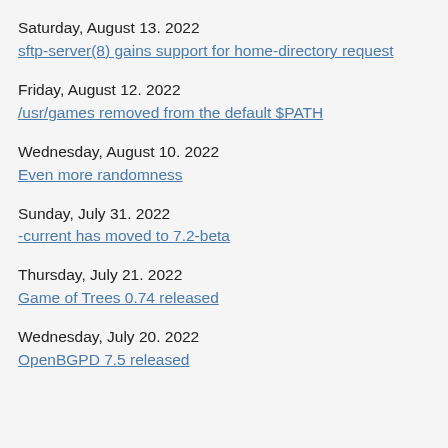Saturday, August 13. 2022
sftp-server(8) gains support for home-directory request
Friday, August 12. 2022
/usr/games removed from the default $PATH
Wednesday, August 10. 2022
Even more randomness
Sunday, July 31. 2022
-current has moved to 7.2-beta
Thursday, July 21. 2022
Game of Trees 0.74 released
Wednesday, July 20. 2022
OpenBGPD 7.5 released